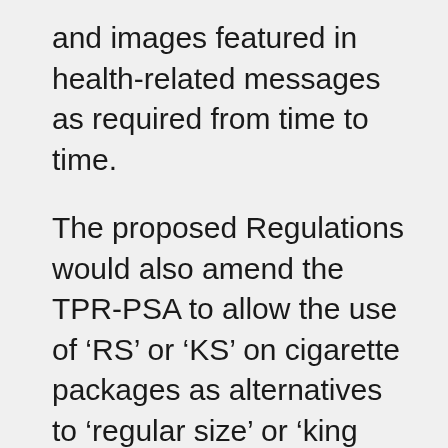and images featured in health-related messages as required from time to time.
The proposed Regulations would also amend the TPR-PSA to allow the use of ‘RS’ or ‘KS’ on cigarette packages as alternatives to ‘regular size’ or ‘king size’ as a declaration of cigarette size on the package and to ensure alignment with the proposed labelling requirements.
The proposed Regulations would consolidate all tobacco product